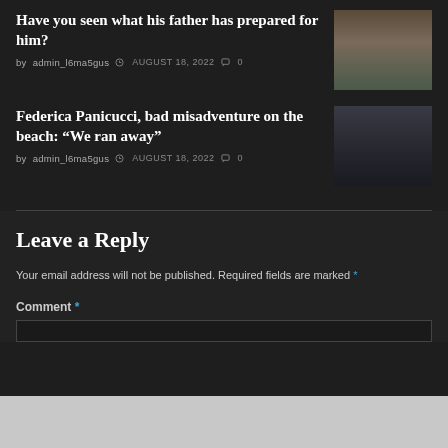Have you seen what his father has prepared for him?
by admin_l6ma5gus  AUGUST 18, 2022  0
Federica Panicucci, bad misadventure on the beach: “We ran away”
by admin_l6ma5gus  AUGUST 18, 2022  0
Leave a Reply
Your email address will not be published. Required fields are marked *
Comment *